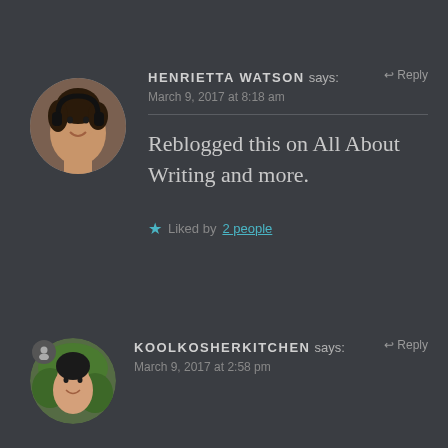HENRIETTA WATSON says:
March 9, 2017 at 8:18 am
Reblogged this on All About Writing and more.
Liked by 2 people
KOOLKOSHERKITCHEN says:
March 9, 2017 at 2:58 pm